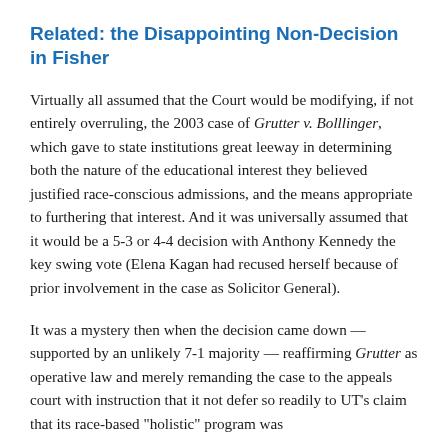Related: the Disappointing Non-Decision in Fisher
Virtually all assumed that the Court would be modifying, if not entirely overruling, the 2003 case of Grutter v. Bolllinger, which gave to state institutions great leeway in determining both the nature of the educational interest they believed justified race-conscious admissions, and the means appropriate to furthering that interest. And it was universally assumed that it would be a 5-3 or 4-4 decision with Anthony Kennedy the key swing vote (Elena Kagan had recused herself because of prior involvement in the case as Solicitor General).
It was a mystery then when the decision came down — supported by an unlikely 7-1 majority — reaffirming Grutter as operative law and merely remanding the case to the appeals court with instruction that it not defer so readily to UT's claim that its race-based "holistic" program was